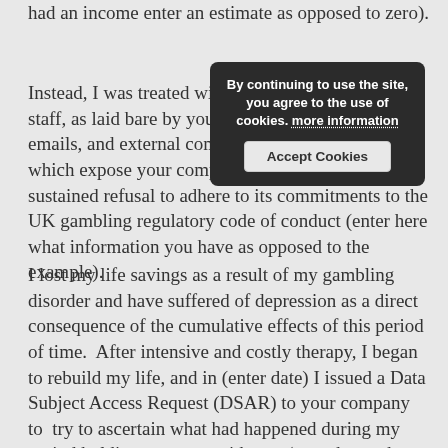had an income enter an estimate as opposed to zero).
Instead, I was treated with gross callaxity by your staff, as laid bare by your own records, internal emails, and external communications with me, which expose your company's repeated and sustained refusal to adhere to its commitments to the UK gambling regulatory code of conduct (enter here what information you have as opposed to the example).
[Figure (screenshot): Cookie consent overlay popup with dark background. Text reads: 'By continuing to use the site, you agree to the use of cookies. more information' with an 'Accept Cookies' button.]
I lost my life savings as a result of my gambling disorder and have suffered of depression as a direct consequence of the cumulative effects of this period of time.  After intensive and costly therapy, I began to rebuild my life, and in (enter date) I issued a Data Subject Access Request (DSAR) to your company to  try to ascertain what had happened during my period holding accounts with you (enter here what information is relevant to you as opposed to the example).